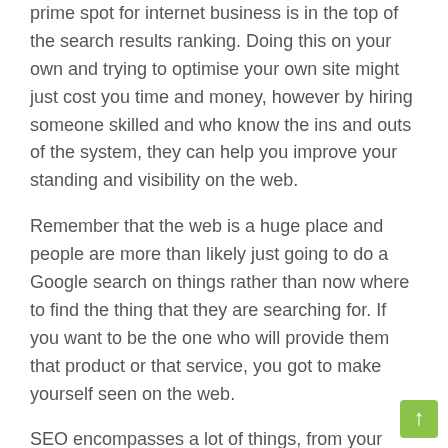prime spot for internet business is in the top of the search results ranking. Doing this on your own and trying to optimise your own site might just cost you time and money, however by hiring someone skilled and who know the ins and outs of the system, they can help you improve your standing and visibility on the web.
Remember that the web is a huge place and people are more than likely just going to do a Google search on things rather than now where to find the thing that they are searching for. If you want to be the one who will provide them that product or that service, you got to make yourself seen on the web.
SEO encompasses a lot of things, from your sites content, the images for the image search, even your videos and more importantly searches affecting the trends in your specific industry. SEO is up-to-date with the latest updates and trends to make sure that they can help your site be known and visible in a full spectrum of availability.